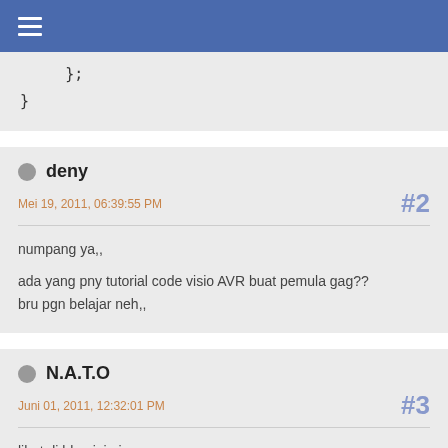☰
deny
Mei 19, 2011, 06:39:55 PM  #2
numpang ya,,

ada yang pny tutorial code visio AVR buat pemula gag??
bru pgn belajar neh,,
N.A.T.O
Juni 01, 2011, 12:32:01 PM  #3
lihat di blog ini aja gan: